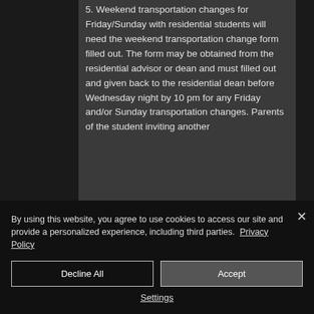5. Weekend transportation changes for Friday/Sunday with residential students will need the weekend transportation change form filled out. The form may be obtained from the residential advisor or dean and must filled out and given back to the residential dean before Wednesday night by 10 pm for any Friday and/or Sunday transportation changes. Parents of the student inviting another
By using this website, you agree to use cookies to access our site and provide a personalized experience, including third parties. Privacy Policy
Decline All
Accept
Settings